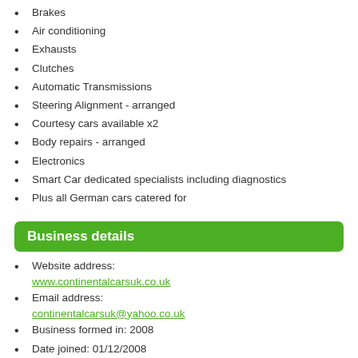Brakes
Air conditioning
Exhausts
Clutches
Automatic Transmissions
Steering Alignment - arranged
Courtesy cars available x2
Body repairs - arranged
Electronics
Smart Car dedicated specialists including diagnostics
Plus all German cars catered for
Business details
Website address: www.continentalcarsuk.co.uk
Email address: continentalcarsuk@yahoo.co.uk
Business formed in: 2008
Date joined: 01/12/2008
Contact: Matt Willmott
Telephone: